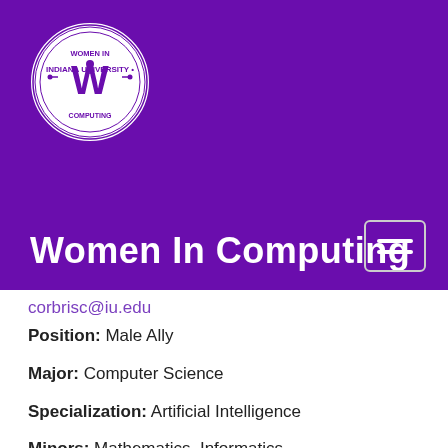[Figure (logo): Women In Computing circular logo with text 'Indiana University School of Informatics, Computing and Engineering' around a stylized W]
Women In Computing
corbrisc@iu.edu
Position: Male Ally
Major: Computer Science
Specialization: Artificial Intelligence
Minors: Mathematics, Informatics
Hometown: Greenwood, IN
Internships/Involvement: